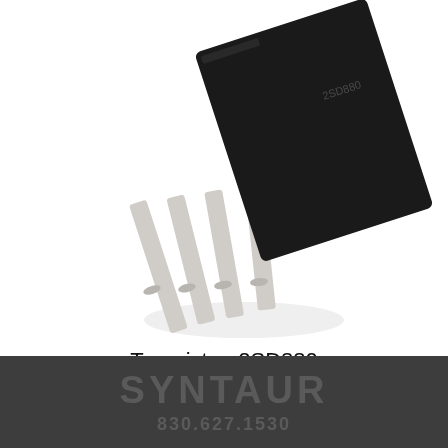[Figure (photo): Photo of a 2SD880 NPN transistor component with four silver metal leads extending downward from a black rectangular body, shown at an angle on a white background.]
Transistor, 2SD880
$2.95 (Part #2955)
Click for details
SYNTAUR
830.627.1530